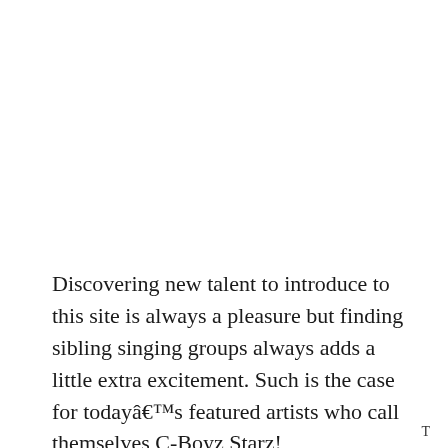Discovering new talent to introduce to this site is always a pleasure but finding sibling singing groups always adds a little extra excitement. Such is the case for todayâ€™s featured artists who call themselves C-Boyz Starz!
T